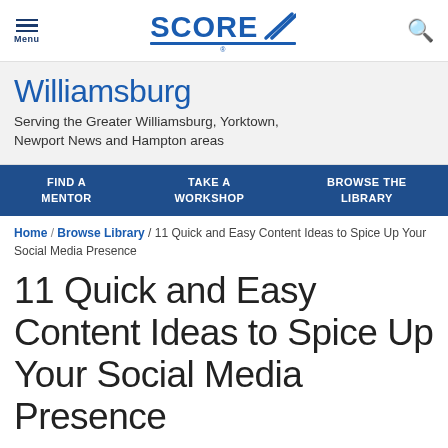Menu | SCORE | [search icon]
Williamsburg
Serving the Greater Williamsburg, Yorktown, Newport News and Hampton areas
FIND A MENTOR | TAKE A WORKSHOP | BROWSE THE LIBRARY
Home / Browse Library / 11 Quick and Easy Content Ideas to Spice Up Your Social Media Presence
11 Quick and Easy Content Ideas to Spice Up Your Social Media Presence